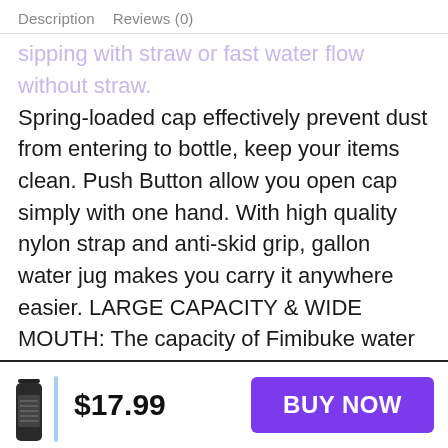Description   Reviews (0)
sipping with straw or fast water flow without straw. Spring-loaded cap effectively prevent dust from entering to bottle, keep your items clean. Push Button allow you open cap simply with one hand. With high quality nylon strap and anti-skid grip, gallon water jug makes you carry it anywhere easier. LARGE CAPACITY & WIDE MOUTH: The capacity of Fimibuke water bottle with straw is designed to 128 oz, which is equivalent to 16 cups of water recommended by scientists for humans every day, no more need to refill water frequently. Wide-mouth design make the sports water bottle easy to fill with
$17.99
BUY NOW